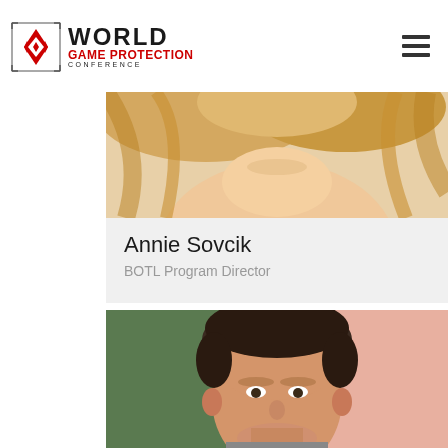[Figure (logo): World Game Protection Conference logo with diamond/card suit icon, 'WORLD' in black bold, 'GAME PROTECTION' in red bold, 'CONFERENCE' in black small caps]
[Figure (photo): Cropped photo of Annie Sovcik, showing neck and blonde hair, bottom portion of face]
Annie Sovcik
BOTL Program Director
[Figure (photo): Photo of a man with short dark hair smiling, partial view with green and pink/salmon background]